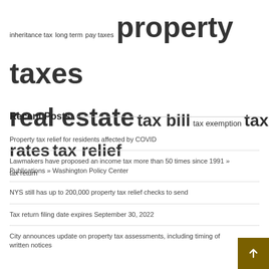inheritance tax  long term  pay taxes  property taxes  real estate  tax bill  tax exemption  tax rates  tax relief  tax return
Recent Posts
Property tax relief for residents affected by COVID
Lawmakers have proposed an income tax more than 50 times since 1991 » Publications » Washington Policy Center
NYS still has up to 200,000 property tax relief checks to send
Tax return filing date expires September 30, 2022
City announces update on property tax assessments, including timing of written notices